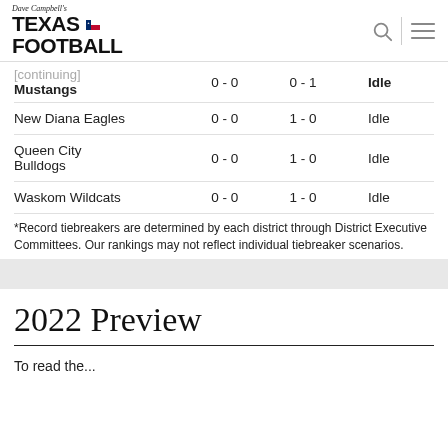Dave Campbell's Texas Football
| Team | District | Overall | Status |
| --- | --- | --- | --- |
| [partially cut off] Mustangs | 0 - 0 | 0 - 1 | Idle |
| New Diana Eagles | 0 - 0 | 1 - 0 | Idle |
| Queen City Bulldogs | 0 - 0 | 1 - 0 | Idle |
| Waskom Wildcats | 0 - 0 | 1 - 0 | Idle |
*Record tiebreakers are determined by each district through District Executive Committees. Our rankings may not reflect individual tiebreaker scenarios.
2022 Preview
To read the...